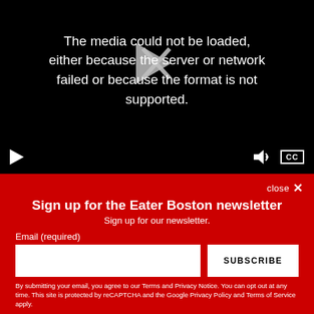[Figure (screenshot): Video player showing error message: 'The media could not be loaded, either because the server or network failed or because the format is not supported.' with play controls at bottom including play button, volume icon, and CC button.]
close X
Sign up for the Eater Boston newsletter
Sign up for our newsletter.
Email (required)
SUBSCRIBE
By submitting your email, you agree to our Terms and Privacy Notice. You can opt out at any time. This site is protected by reCAPTCHA and the Google Privacy Policy and Terms of Service apply.